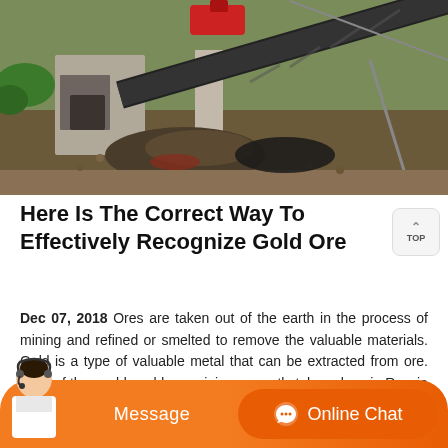[Figure (photo): Aerial view of a gold ore mining site with conveyor belt, concrete structure, machinery, and crushed rock/ore on the ground surrounded by vegetation.]
Here Is The Correct Way To Effectively Recognize Gold Ore
Dec 07, 2018 Ores are taken out of the earth in the process of mining and refined or smelted to remove the valuable materials. Gold is a type of valuable metal that can be extracted from ore. Most of the worlds gold ore mining currently takes place in Russia and South Africa, but gold has been pursued in its various forms for thousands of years ...
[Figure (photo): Chat bar with agent photo, Message button, and Online Chat button on orange background.]